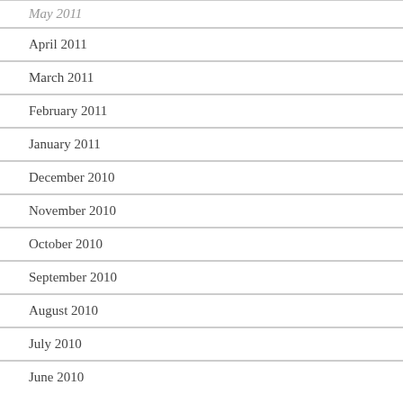May 2011
April 2011
March 2011
February 2011
January 2011
December 2010
November 2010
October 2010
September 2010
August 2010
July 2010
June 2010